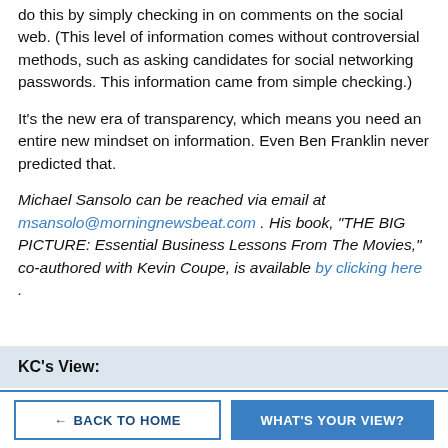do this by simply checking in on comments on the social web. (This level of information comes without controversial methods, such as asking candidates for social networking passwords. This information came from simple checking.)
It's the new era of transparency, which means you need an entire new mindset on information. Even Ben Franklin never predicted that.
Michael Sansolo can be reached via email at msansolo@morningnewsbeat.com . His book, “THE BIG PICTURE: Essential Business Lessons From The Movies,” co-authored with Kevin Coupe, is available by clicking here .
KC’s View:
BACK TO HOME
WHAT’S YOUR VIEW?